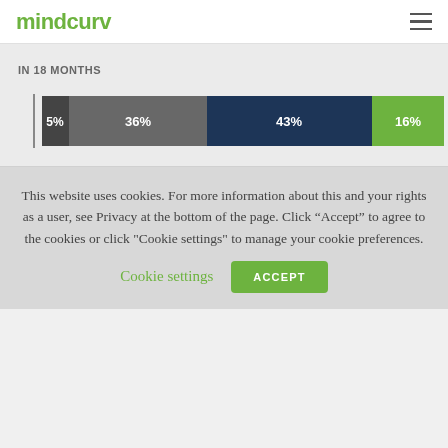mindcurv
IN 18 MONTHS
[Figure (stacked-bar-chart): IN 18 MONTHS]
This website uses cookies. For more information about this and your rights as a user, see Privacy at the bottom of the page. Click “Accept” to agree to the cookies or click "Cookie settings" to manage your cookie preferences.
Cookie settings
ACCEPT